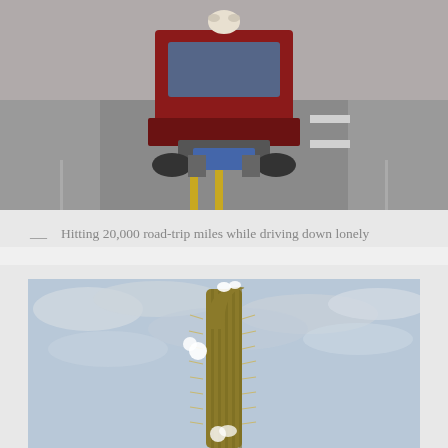[Figure (photo): Rear view of a truck/SUV driving down a road with yellow center lines, animal skull mounted on the back]
— Hitting 20,000 road-trip miles while driving down lonely highway 150 toward Parque National Talampaya in Argentina. Pinch me!
[Figure (photo): Tall cactus with white blooming flowers against a cloudy sky, close-up shot looking upward]